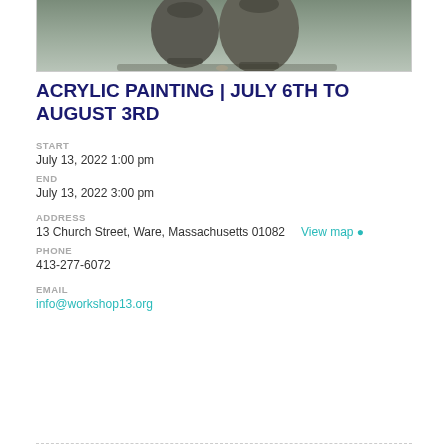[Figure (photo): Partial view of ceramic pots/vases on a surface, photo cropped at top edge]
ACRYLIC PAINTING | JULY 6TH TO AUGUST 3RD
START
July 13, 2022 1:00 pm
END
July 13, 2022 3:00 pm
ADDRESS
13 Church Street, Ware, Massachusetts 01082   View map
PHONE
413-277-6072
EMAIL
info@workshop13.org